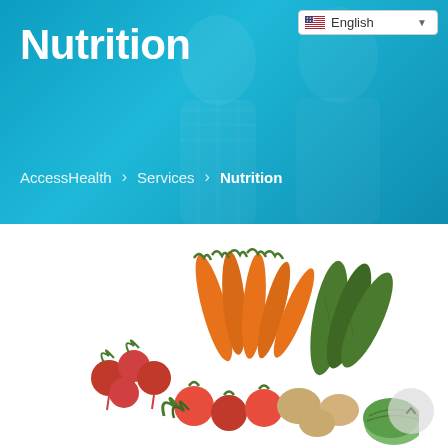[Figure (screenshot): Blue hero banner with two people in background (one wearing plaid, one in medical/professional attire), teal/cyan overlay, language selector dropdown showing English with US flag, page title 'Nutrition' in white bold text, breadcrumb navigation showing AccessHealth > Services > Nutrition]
Nutrition
AccessHealth > Services > Nutrition
[Figure (photo): Overhead photo of fresh vegetables including carrots, cucumbers, radishes, tomatoes, potatoes, cabbage and other produce arranged on a white background]